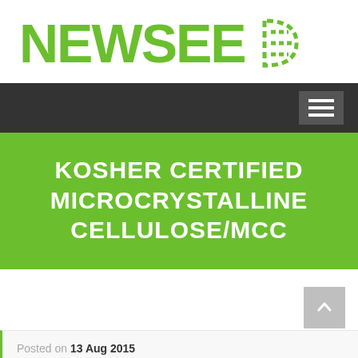[Figure (logo): NEWSEED logo with green bold text and dashed arrow/chevron icon to the right]
[Figure (other): Dark navigation bar with hamburger menu icon on the right]
KOSHER CERTIFIED MICROCRYSTALLINE CELLULOSE/MCC
Posted on 13 Aug 2015
In Kosher food additives   No comment